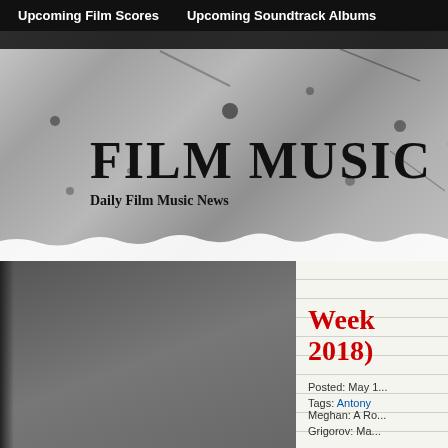Upcoming Film Scores | Upcoming Soundtrack Albums
[Figure (photo): Film Music Reporter website header banner with distressed/grunge texture background in black and white, featuring large serif text 'FILM MUSIC REPO...' and subtitle 'Daily Film Music News']
FILM MUSIC REPO...
Daily Film Music News
[Figure (photo): Dark gray photograph panel on the left side of the article section, content not clearly visible]
Week... 2018)
Posted: May 1...
Tags: Antony... Meghan: A Ro... Grigorov: Ma...